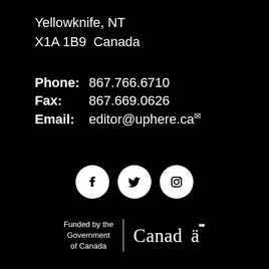Yellowknife, NT
X1A 1B9  Canada
Phone:  867.766.6710
Fax:  867.669.0626
Email:  editor@uphere.ca
[Figure (illustration): Three white social media icons (Facebook, Twitter, Instagram) in white circles on black background]
[Figure (logo): Funded by the Government of Canada logo with Canada wordmark]